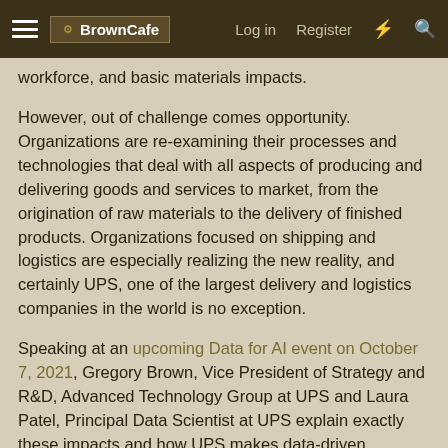BrownCafe | Log in | Register
workforce, and basic materials impacts.
However, out of challenge comes opportunity. Organizations are re-examining their processes and technologies that deal with all aspects of producing and delivering goods and services to market, from the origination of raw materials to the delivery of finished products. Organizations focused on shipping and logistics are especially realizing the new reality, and certainly UPS, one of the largest delivery and logistics companies in the world is no exception.
Speaking at an upcoming Data for AI event on October 7, 2021, Gregory Brown, Vice President of Strategy and R&D, Advanced Technology Group at UPS and Laura Patel, Principal Data Scientist at UPS explain exactly these impacts and how UPS makes data-driven